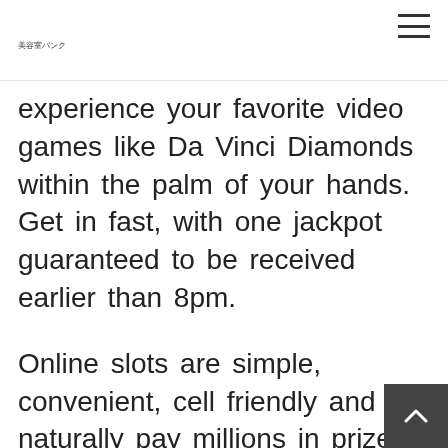美容室バンク
experience your favorite video games like Da Vinci Diamonds within the palm of your hands. Get in fast, with one jackpot guaranteed to be received earlier than 8pm.
Online slots are simple, convenient, cell friendly and naturally pay millions in prizes and jackpots. No surprise on-line slot games are increasing in popularity with players of all ages and experience ranges throughout the UK. [newline]All